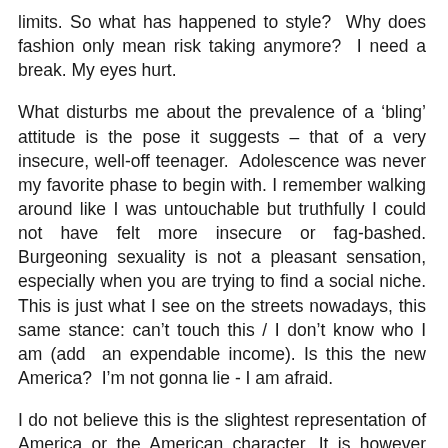limits. So what has happened to style?  Why does fashion only mean risk taking anymore?  I need a break. My eyes hurt.
What disturbs me about the prevalence of a ‘bling’ attitude is the pose it suggests – that of a very insecure, well-off teenager.  Adolescence was never my favorite phase to begin with. I remember walking around like I was untouchable but truthfully I could not have felt more insecure or fag-bashed. Burgeoning sexuality is not a pleasant sensation, especially when you are trying to find a social niche. This is just what I see on the streets nowadays, this same stance: can’t touch this / I don’t know who I am (add  an expendable income). Is this the new America?  I’m not gonna lie - I am afraid.
I do not believe this is the slightest representation of America or the American character. It is however pervasive. Everyone on the street seems to want to be perceived as a slumming pop star. It is a look but don’t